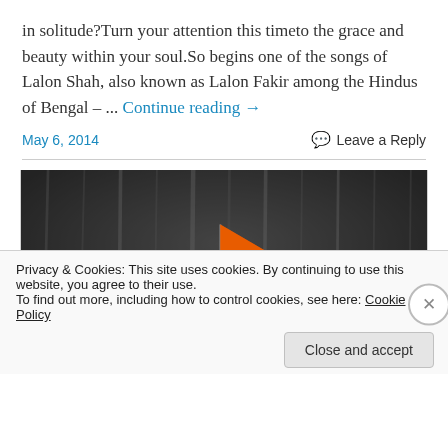in solitude?Turn your attention this timeto the grace and beauty within your soul.So begins one of the songs of Lalon Shah, also known as Lalon Fakir among the Hindus of Bengal – ... Continue reading →
May 6, 2014
Leave a Reply
[Figure (photo): Dark moody photo of an orange/saffron triangular flag against a blurred dark background, possibly a waterfall or rocky surface]
Privacy & Cookies: This site uses cookies. By continuing to use this website, you agree to their use.
To find out more, including how to control cookies, see here: Cookie Policy